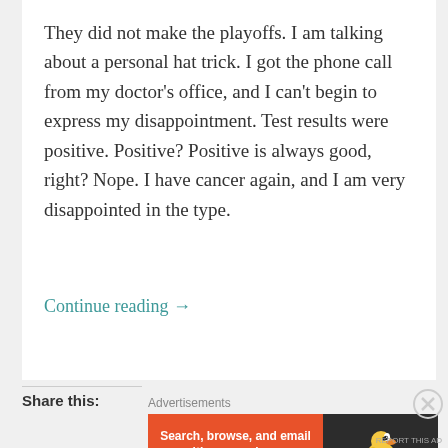They did not make the playoffs. I am talking about a personal hat trick. I got the phone call from my doctor's office, and I can't begin to express my disappointment. Test results were positive. Positive? Positive is always good, right? Nope. I have cancer again, and I am very disappointed in the type.
Continue reading →
Share this:
Advertisements
[Figure (other): DuckDuckGo advertisement banner: orange background with text 'Search, browse, and email with more privacy. All in One Free App' and DuckDuckGo duck logo on dark background]